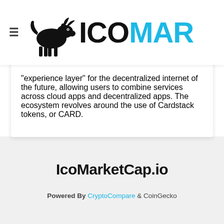[Figure (logo): ICOMarketCap logo with bull silhouette icon and 'ICOMAP' text in black and cyan]
"experience layer" for the decentralized internet of the future, allowing users to combine services across cloud apps and decentralized apps. The ecosystem revolves around the use of Cardstack tokens, or CARD.
IcoMarketCap.io
Powered By CryptoCompare & CoinGecko